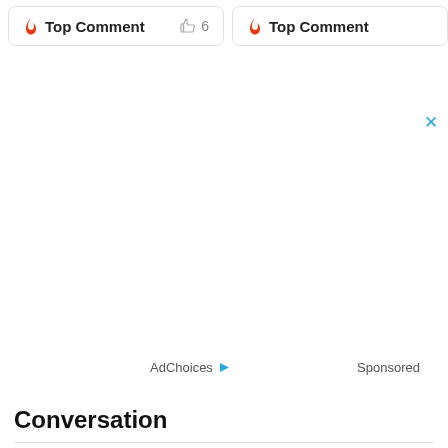🔥 Top Comment   👍 6
🔥 Top Comment
× (close ad)
AdChoices ▶   Sponsored
Conversation